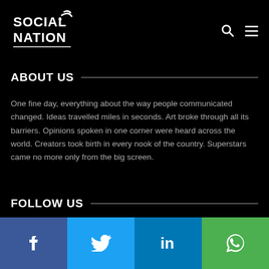Social Nation — navigation bar with logo, search and menu icons
ABOUT US
One fine day, everything about the way people communicated changed. Ideas travelled miles in seconds. Art broke through all its barriers. Opinions spoken in one corner were heard across the world. Creators took birth in every nook of the country. Superstars came no more only from the big screen.
FOLLOW US
[Figure (infographic): Social media follow buttons row: Facebook (dark blue), Twitter (light blue), LinkedIn (blue), WhatsApp (green), each with white icon]